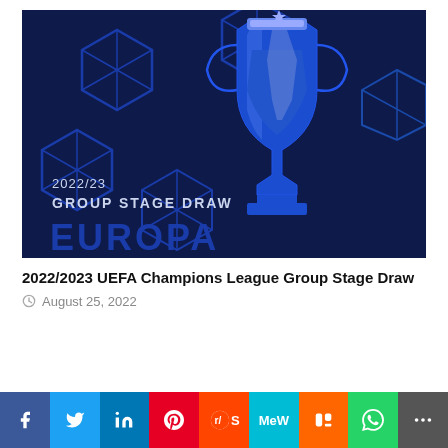[Figure (illustration): UEFA Champions League 2022/23 Group Stage Draw promotional image showing the Champions League trophy against a dark navy blue background with star/geometric patterns. Text on image reads '2022/23 GROUP STAGE DRAW'.]
2022/2023 UEFA Champions League Group Stage Draw
August 25, 2022
Social share bar with Facebook, Twitter, LinkedIn, Pinterest, Reddit, MeWe, Mix, WhatsApp, More buttons